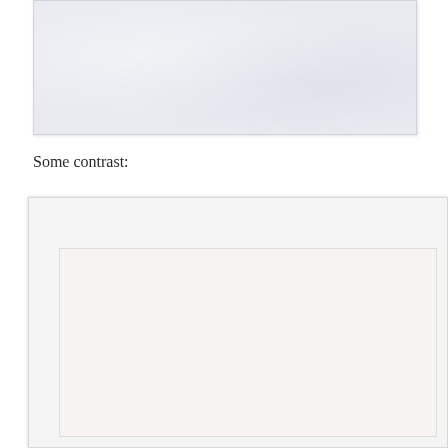[Figure (photo): A light bluish-gray textured rectangle, resembling a blank or near-blank paper surface with slight noise/grain and subtle shading.]
Some contrast:
[Figure (photo): A white/light gray box with a shadow border, containing a lighter inner rectangle with warm off-white tone, suggesting a contrast comparison image.]